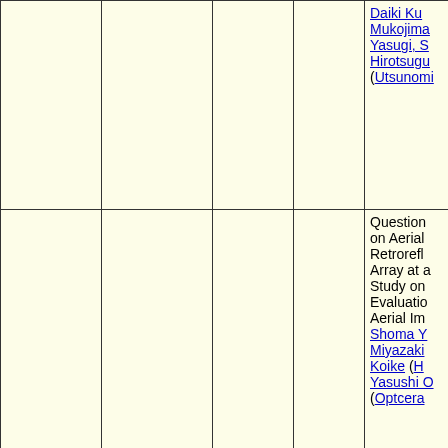| Session | Date/Time | Location | Mode | Title/Authors |
| --- | --- | --- | --- | --- |
|  |  |  |  | Daiki Ku...
Mukojima...
Yasugi, S...
Hirotsugu...
(Utsunomi... |
| 3DMT | 2022-03-07
16:05 | Online |  | Questions on Aerial Retrorefl... Array at a... Study on... Evaluatio... Aerial Im...
Shoma Y...
Miyazaki...
Koike (H...
Yasushi O...
(Optcera... |
| IDY, SID-JC | 2022-03-04
13:55 | Online | online | [Invited T... Developm... Optically Transpar... Crystal D...
Yoshimi O...
Nabetani...
Shimada... |